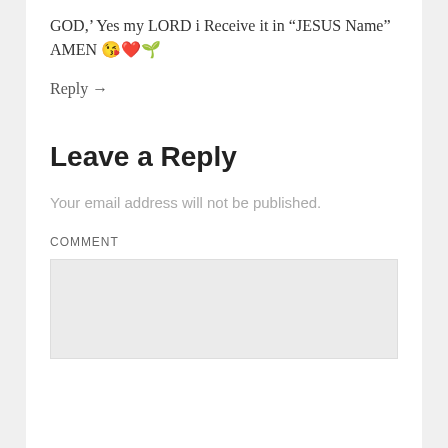GOD,' Yes my LORD i Receive it in "JESUS Name" AMEN 😘❤️🌱
Reply →
Leave a Reply
Your email address will not be published.
COMMENT